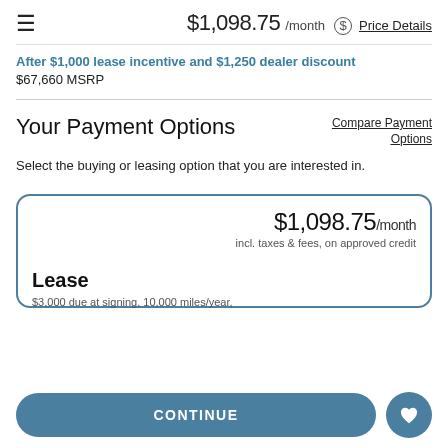$1,098.75 /month  Price Details
After $1,000 lease incentive and $1,250 dealer discount
$67,660 MSRP
Your Payment Options
Compare Payment Options
Select the buying or leasing option that you are interested in.
$1,098.75 /month
incl. taxes & fees, on approved credit
Lease
$3,000 due at signing, 10,000 miles/year, 36
CONTINUE